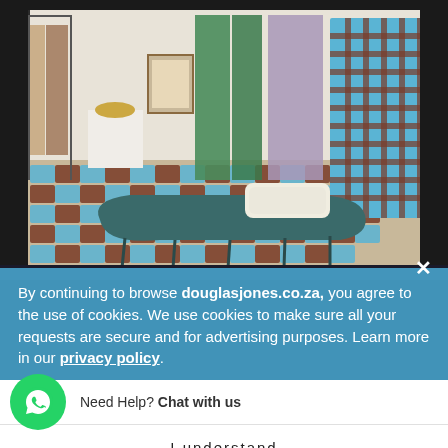[Figure (photo): Interior design exhibition/showroom display with a curved teal/dark green woven bench in the center on a blue and brown checkered rug/carpet. Behind it are hanging green fabric panels, a mauve/pink curtain, a tall blue and brown woven screen on the right, white display pedestals with decorative objects, framed artwork, and various design pieces on display.]
By continuing to browse douglasjones.co.za, you agree to the use of cookies. We use cookies to make sure all your requests are secure and for advertising purposes. Learn more in our privacy policy.
Need Help? Chat with us
I understand